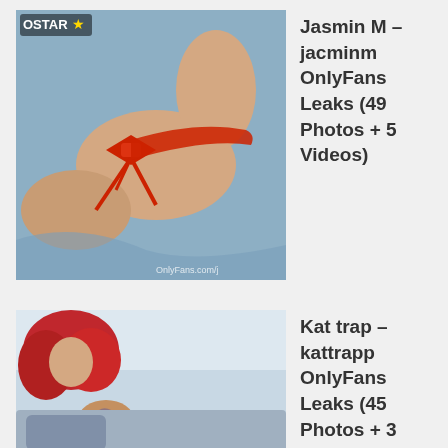[Figure (photo): Thumbnail photo with OSTAR badge and watermark OnlyFans.com/j — person in red lingerie on blue bedding]
Jasmin M – jacminm OnlyFans Leaks (49 Photos + 5 Videos)
[Figure (photo): Thumbnail photo — person with red hair and tattoo, partial view]
Kat trap – kattrapp OnlyFans Leaks (45 Photos + 3 Videos)